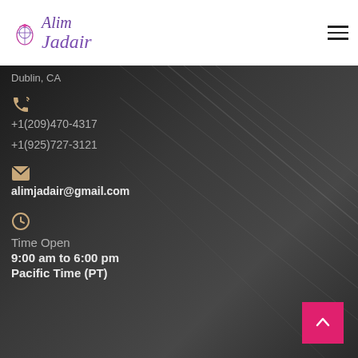Alim Jadair — logo and navigation header
Dublin, CA
+1(209)470-4317
+1(925)727-3121
alimjadair@gmail.com
Time Open
9:00 am to 6:00 pm
Pacific Time (PT)